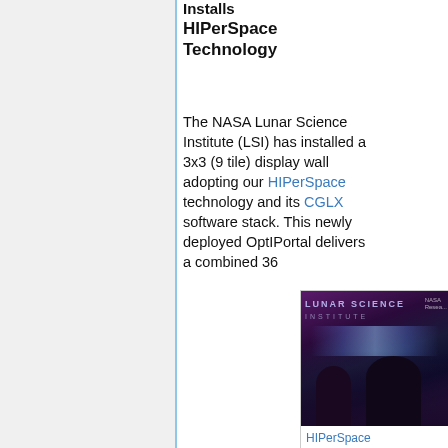Installs HIPerSpace Technology
The NASA Lunar Science Institute (LSI) has installed a 3x3 (9 tile) display wall adopting our HIPerSpace technology and its CGLX software stack. This newly deployed OptIPortal delivers a combined 36
[Figure (photo): Photo of the NASA Lunar Science Institute interior showing a display wall with 'LUNAR SCIENCE INSTITUTE' signage and two people standing in front of it]
HIPerSpace